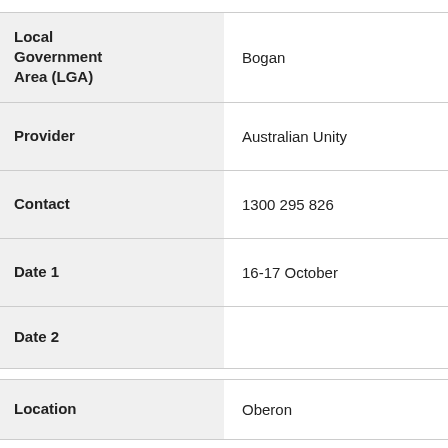| Field | Value |
| --- | --- |
| Local Government Area (LGA) | Bogan |
| Provider | Australian Unity |
| Contact | 1300 295 826 |
| Date 1 | 16-17 October |
| Date 2 |  |
| Location | Oberon |